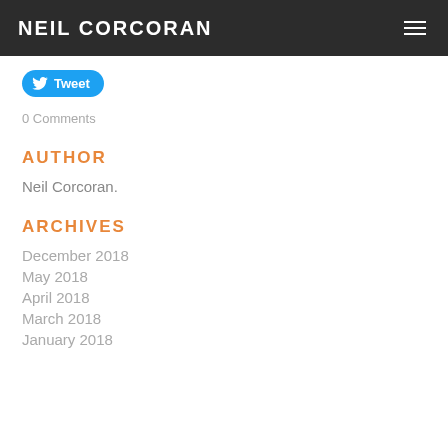NEIL CORCORAN
[Figure (other): Twitter Tweet button with bird icon]
0 Comments
AUTHOR
Neil Corcoran.
ARCHIVES
December 2018
May 2018
April 2018
March 2018
January 2018